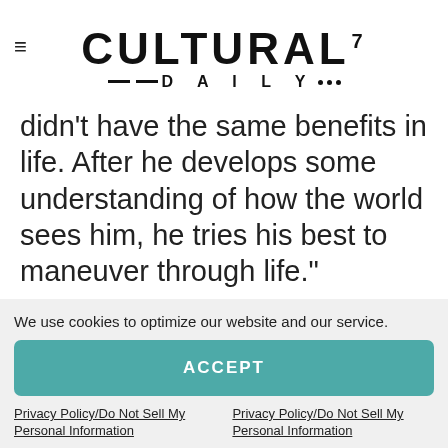CULTURAL7 DAILY
didn't have the same benefits in life. After he develops some understanding of how the world sees him, he tries his best to maneuver through life."
Director Lee Daniels says, "My movie is a specifically about the government targeting Billie Holiday, from the time she
We use cookies to optimize our website and our service.
ACCEPT
Privacy Policy/Do Not Sell My Personal Information
Privacy Policy/Do Not Sell My Personal Information